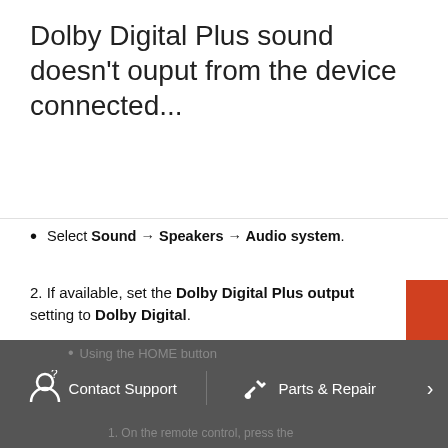Dolby Digital Plus sound doesn't ouput from the device connected...
Select Sound → Speakers → Audio system.
2. If available, set the Dolby Digital Plus output setting to Dolby Digital.
1. Open the Settings screen.
Using the Quick Settings button (For models released in 2019 or later)
1. On the remote control, press the Quick Settings button.
2. Select Settings.
Contact Support   Parts & Repair